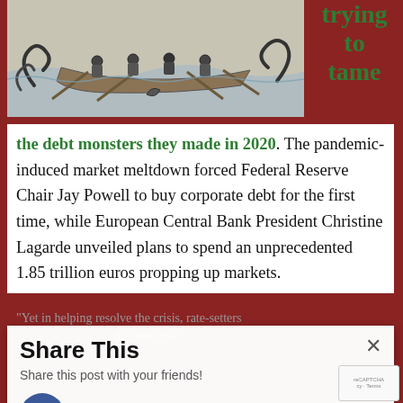[Figure (illustration): Black and white illustration of people in a boat struggling with sea monsters or large creatures in turbulent water]
trying to tame
the debt monsters they made in 2020. The pandemic-induced market meltdown forced Federal Reserve Chair Jay Powell to buy corporate debt for the first time, while European Central Bank President Christine Lagarde unveiled plans to spend an unprecedented 1.85 trillion euros propping up markets.
"Yet in helping resolve the crisis, rate-setters may be sowing the seeds of the next one."
Share This
Share this post with your friends!
Facebook
Twitter